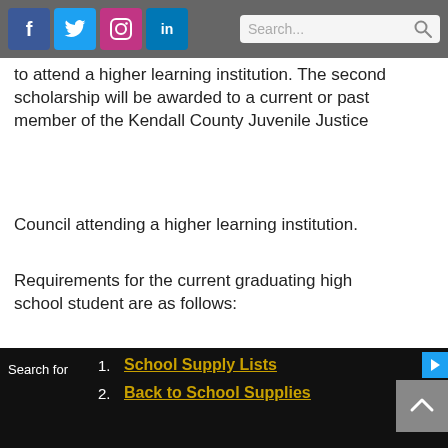Social media icons: Facebook, Twitter, Instagram, LinkedIn. Search bar.
to attend a higher learning institution. The second scholarship will be awarded to a current or past member of the Kendall County Juvenile Justice
Council attending a higher learning institution.
Requirements for the current graduating high school student are as follows:
Applicants must be a Kendall County resident graduating from High School in 2019
Scholarship must be utilized at a higher learning institution, including a
Search for  1. School Supply Lists  2. Back to School Supplies